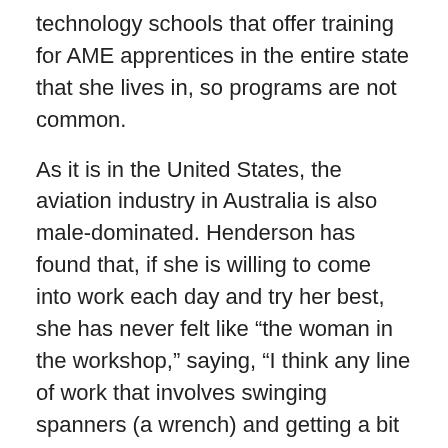technology schools that offer training for AME apprentices in the entire state that she lives in, so programs are not common.
As it is in the United States, the aviation industry in Australia is also male-dominated. Henderson has found that, if she is willing to come into work each day and try her best, she has never felt like “the woman in the workshop,” saying, “I think any line of work that involves swinging spanners (a wrench) and getting a bit dirty, no matter what country it is, is going to have uneven numbers when it comes to gender. From the moment I started with Pays I was treated as equal and as someone learning new skills. If you show those gents that you want to work and you want to learn, they treat you as equal. They don’t M...